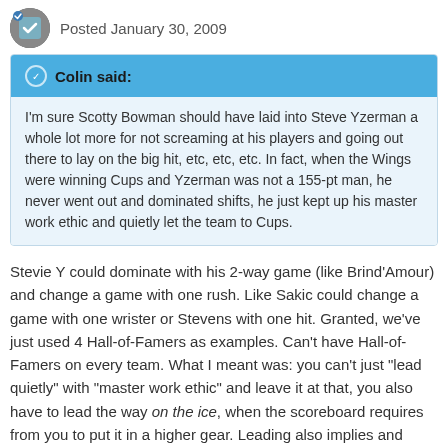Posted January 30, 2009
Colin said:
I'm sure Scotty Bowman should have laid into Steve Yzerman a whole lot more for not screaming at his players and going out there to lay on the big hit, etc, etc, etc. In fact, when the Wings were winning Cups and Yzerman was not a 155-pt man, he never went out and dominated shifts, he just kept up his master work ethic and quietly let the team to Cups.
Stevie Y could dominate with his 2-way game (like Brind'Amour) and change a game with one rush. Like Sakic could change a game with one wrister or Stevens with one hit. Granted, we've just used 4 Hall-of-Famers as examples. Can't have Hall-of-Famers on every team. What I meant was: you can't just "lead quietly" with "master work ethic" and leave it at that, you also have to lead the way on the ice, when the scoreboard requires from you to put it in a higher gear. Leading also implies and requires that you get results when it matters.